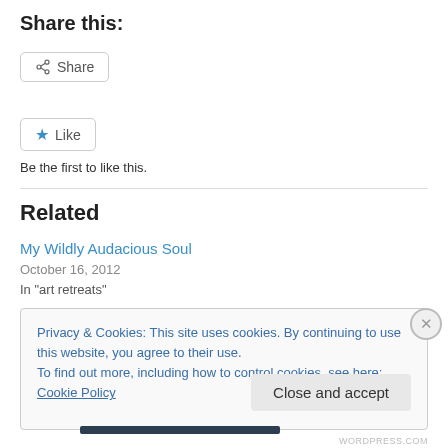Share this:
[Figure (other): Share button with share icon]
[Figure (other): Like button with blue star icon]
Be the first to like this.
Related
My Wildly Audacious Soul
October 16, 2012
In "art retreats"
Privacy & Cookies: This site uses cookies. By continuing to use this website, you agree to their use.
To find out more, including how to control cookies, see here: Cookie Policy
Close and accept